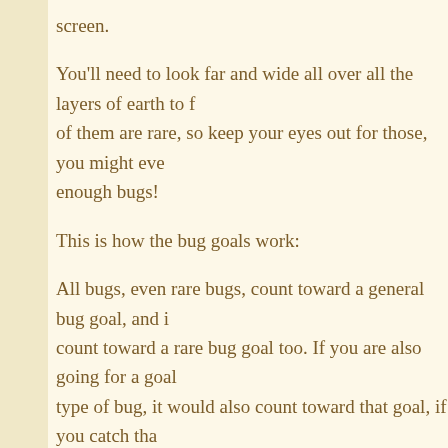screen.
You'll need to look far and wide all over all the layers of earth to find all of them are rare, so keep your eyes out for those, you might eve enough bugs!
This is how the bug goals work:
All bugs, even rare bugs, count toward a general bug goal, and i count toward a rare bug goal too. If you are also going for a goal type of bug, it would also count toward that goal, if you catch tha
For example, if you have 3 separate bug goals, one is to catch 2 another goal is to catch 50 rare bugs and the third goal is to catc and you catch a Bopa bug, which is a rare bug, this would count goals. This means you can get credit for up to three goals by cat
To see which bugs are rare and how many of all the types of bug